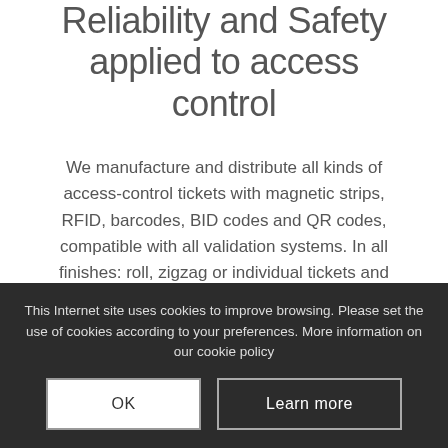Reliability and Safety applied to access control
We manufacture and distribute all kinds of access-control tickets with magnetic strips, RFID, barcodes, BID codes and QR codes, compatible with all validation systems. In all finishes: roll, zigzag or individual tickets and cards (ISO 7811).
Unlimited format options, materials, finishes and security features (security inks, holograms, barcodes, numbering, coding and personalization and RFID...
This Internet site uses cookies to improve browsing. Please set the use of cookies according to your preferences. More information on our cookie policy